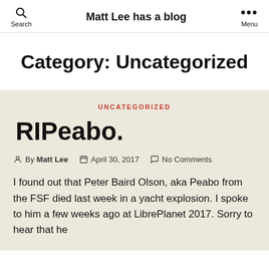Matt Lee has a blog | Search | Menu
Category: Uncategorized
UNCATEGORIZED
RIPeabo.
By Matt Lee   April 30, 2017   No Comments
I found out that Peter Baird Olson, aka Peabo from the FSF died last week in a yacht explosion. I spoke to him a few weeks ago at LibrePlanet 2017. Sorry to hear that he